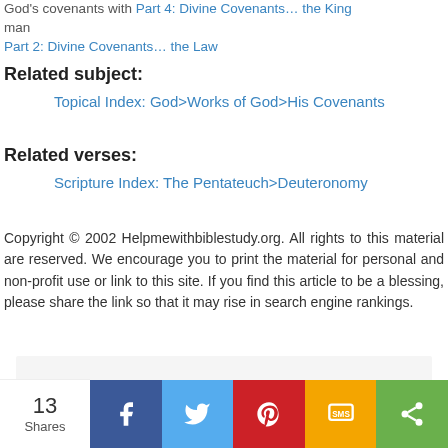God's covenants with Part 4: Divine Covenants… the King man
Part 2: Divine Covenants… the Law
Related subject:
Topical Index: God>Works of God>His Covenants
Related verses:
Scripture Index: The Pentateuch>Deuteronomy
Copyright © 2002 Helpmewithbiblestudy.org. All rights to this material are reserved. We encourage you to print the material for personal and non-profit use or link to this site. If you find this article to be a blessing, please share the link so that it may rise in search engine rankings.
[Figure (screenshot): Social sharing bar with share count 13, Facebook, Twitter, Pinterest, SMS, and share buttons]
[Figure (photo): Partial image of a brown/tan colored book or publication]